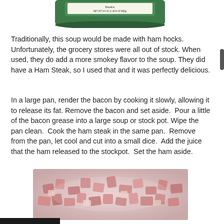[Figure (photo): Top portion of a green product package (partially cropped at top of page), showing text 'NET WT 24 OZ (1 LB 8 OZ 680g)']
Traditionally, this soup would be made with ham hocks. Unfortunately, the grocery stores were all out of stock. When used, they do add a more smokey flavor to the soup. They did have a Ham Steak, so I used that and it was perfectly delicious.
In a large pan, render the bacon by cooking it slowly, allowing it to release its fat. Remove the bacon and set aside.  Pour a little of the bacon grease into a large soup or stock pot. Wipe the pan clean.  Cook the ham steak in the same pan.  Remove from the pan, let cool and cut into a small dice.  Add the juice that the ham released to the stockpot.  Set the ham aside.
[Figure (photo): Photograph of diced cooked ham pieces piled on a white surface, showing small cubes of pink and light-colored ham.]